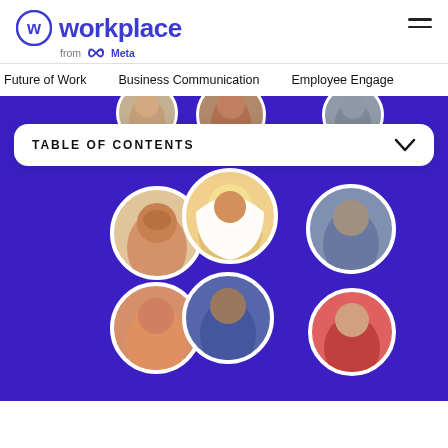workplace from Meta
Future of Work   Business Communication   Employee Engage
[Figure (screenshot): Workplace from Meta website screenshot showing a purple/indigo hero image with circular profile photos of diverse people on a purple background, and a TABLE OF CONTENTS dropdown overlay.]